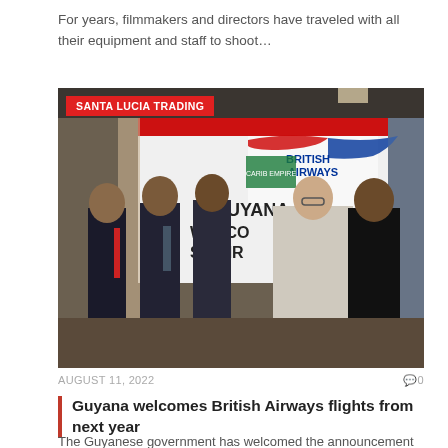For years, filmmakers and directors have traveled with all their equipment and staff to shoot…
[Figure (photo): Five people standing in front of a British Airways / Guyana Welco[mes] British Airw[ays] banner. A red Santa Lucia Trading label is overlaid in the top-left corner of the photo.]
AUGUST 11, 2022
0
Guyana welcomes British Airways flights from next year
The Guyanese government has welcomed the announcement that